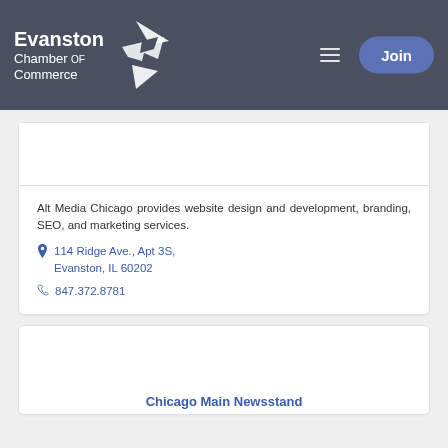Evanston Chamber of Commerce
Alt Media Chicago provides website design and development, branding, SEO, and marketing services.
114 Ridge Ave., Apt 3S, Evanston, IL 60202
847.372.8781
Chicago Main Newsstand